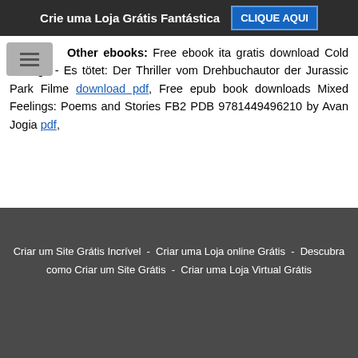Crie uma Loja Grátis Fantástica   CLIQUE AQUI
Other ebooks: Free ebook ita gratis download Cold Storage - Es tötet: Der Thriller vom Drehbuchautor der Jurassic Park Filme download pdf, Free epub book downloads Mixed Feelings: Poems and Stories FB2 PDB 9781449496210 by Avan Jogia pdf,
Criar um Site Grátis Incrível  -  Criar uma Loja online Grátis  -  Descubra como Criar um Site Grátis  -  Criar uma Loja Virtual Grátis